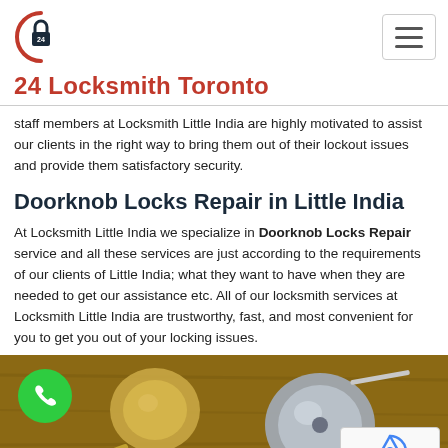24 Locksmith Toronto
24 Locksmith Toronto
staff members at Locksmith Little India are highly motivated to assist our clients in the right way to bring them out of their lockout issues and provide them satisfactory security.
Doorknob Locks Repair in Little India
At Locksmith Little India we specialize in Doorknob Locks Repair service and all these services are just according to the requirements of our clients of Little India; what they want to have when they are needed to get our assistance etc. All of our locksmith services at Locksmith Little India are trustworthy, fast, and most convenient for you to get you out of your locking issues.
[Figure (photo): Close-up photo of doorknob locks and lock hardware on a wooden surface, with a green phone call button overlay and a reCAPTCHA badge in the bottom right corner.]